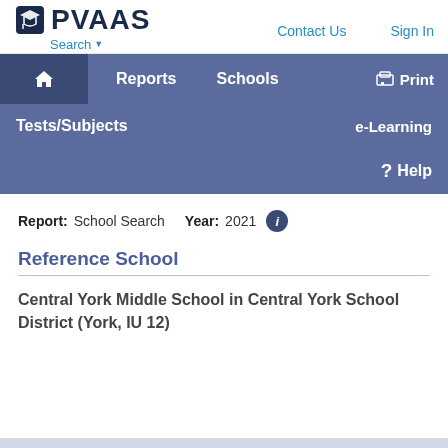[Figure (logo): PVAAS logo with graduation cap shield icon and bold PVAAS text]
Search ▾   Contact Us   Sign In
🏠  Reports  Schools  🖨 Print
Tests/Subjects  e-Learning
? Help
Report: School Search   Year: 2021
Reference School
Central York Middle School in Central York School District (York, IU 12)